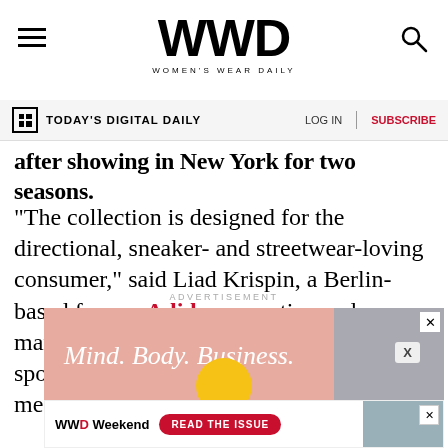WWD WOMEN'S WEAR DAILY
TODAY'S DIGITAL DAILY   LOG IN   SUBSCRIBE
after showing in New York for two seasons.
“The collection is designed for the directional, sneaker- and streetwear-loving consumer,” said Liad Krispin, a Berlin-based former Adidas executive and marketing consultant for the 30-year-old sportswear label, founded by the Olympic medalist of the same name.
ADVERTISEMENT
[Figure (other): Advertisement banner: pink/salmon background with italic text 'Mind. Body. Business.' in white, with a close button]
[Figure (other): WWD Weekend advertisement banner with 'READ THE ISSUE' red pill button and building image]